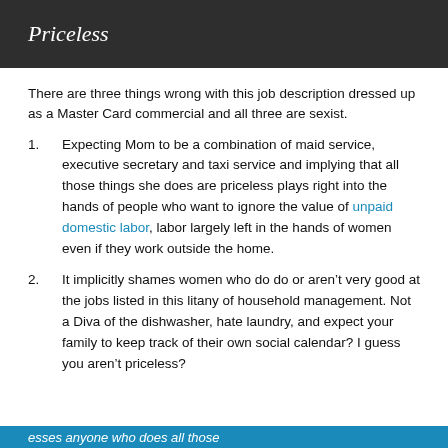Priceless
There are three things wrong with this job description dressed up as a Master Card commercial and all three are sexist.
Expecting Mom to be a combination of maid service, executive secretary and taxi service and implying that all those things she does are priceless plays right into the hands of people who want to ignore the value of unpaid domestic labor, labor largely left in the hands of women even if they work outside the home.
It implicitly shames women who do do or aren’t very good at the jobs listed in this litany of household management. Not a Diva of the dishwasher, hate laundry, and expect your family to keep track of their own social calendar? I guess you aren’t priceless?
esses anyone who does all those